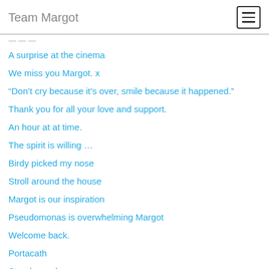Team Margot
A surprise at the cinema
We miss you Margot. x
“Don’t cry because it’s over, smile because it happened.”
Thank you for all your love and support.
An hour at at time.
The spirit is willing …
Birdy picked my nose
Stroll around the house
Margot is our inspiration
Pseudomonas is overwhelming Margot
Welcome back.
Portacath
Steady as she goes
Not a good day after all